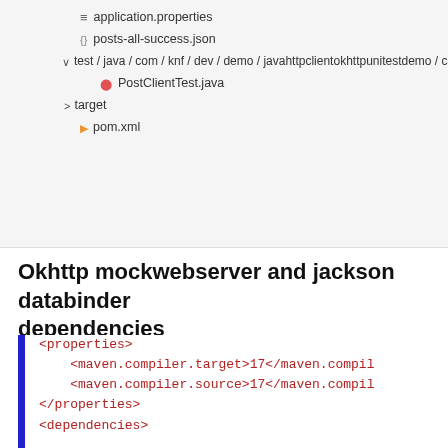[Figure (screenshot): IDE file tree showing application.properties, posts-all-success.json, test/java/com/knf/dev/demo/javahttpclientokhttpunitestdemo/client path with PostClientTest.java, target folder, and pom.xml]
Okhttp mockwebserver and jackson databinder dependencies
[Figure (screenshot): XML code block with blue left border showing <properties>, <maven.compiler.target>17</maven.compiler.target>, <maven.compiler.source>17</maven.compiler.source>, </properties>, <dependencies>, <dependency>, <groupId>com.squareup.okhttp3</groupId>, <artifactId>mockwebserver</artifactId>, <version>4.0.1</version>, <scope>test</scope>]